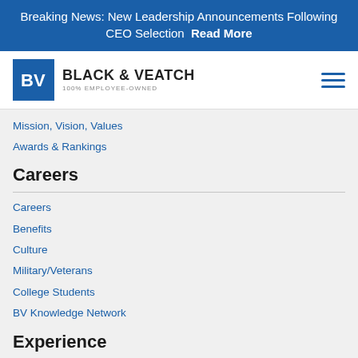Breaking News: New Leadership Announcements Following CEO Selection Read More
[Figure (logo): Black & Veatch logo with BV icon and '100% EMPLOYEE-OWNED' tagline]
Mission, Vision, Values
Awards & Rankings
Careers
Careers
Benefits
Culture
Military/Veterans
College Students
BV Knowledge Network
Experience
Insights and Resources
Strategic Directions Reports